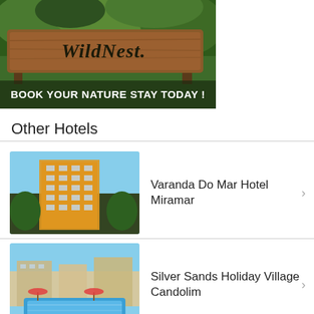[Figure (photo): Banner image with wooden sign reading 'WildNest' against forest/nature background with text 'BOOK YOUR NATURE STAY TODAY!']
Other Hotels
Varanda Do Mar Hotel Miramar
Silver Sands Holiday Village Candolim
Palmarinha Resort Calangute
Baywatch Resort South Goa